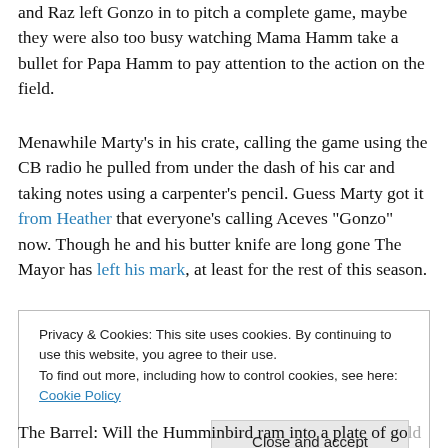and Raz left Gonzo in to pitch a complete game, maybe they were also too busy watching Mama Hamm take a bullet for Papa Hamm to pay attention to the action on the field.
Menawhile Marty’s in his crate, calling the game using the CB radio he pulled from under the dash of his car and taking notes using a carpenter’s pencil. Guess Marty got it from Heather that everyone’s calling Aceves “Gonzo” now. Though he and his butter knife are long gone The Mayor has left his mark, at least for the rest of this season.
Privacy & Cookies: This site uses cookies. By continuing to use this website, you agree to their use.
To find out more, including how to control cookies, see here: Cookie Policy
Close and accept
The Barrel: Will the Humminbird ram into a plate of gold